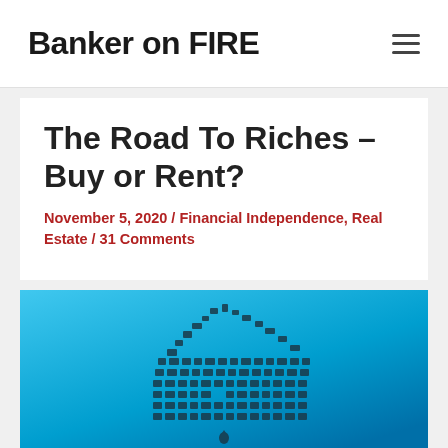Banker on FIRE
The Road To Riches – Buy or Rent?
November 5, 2020 / Financial Independence, Real Estate / 31 Comments
[Figure (illustration): Blue background illustration of a house shape composed of various small icons representing household items, technology, and financial concepts]